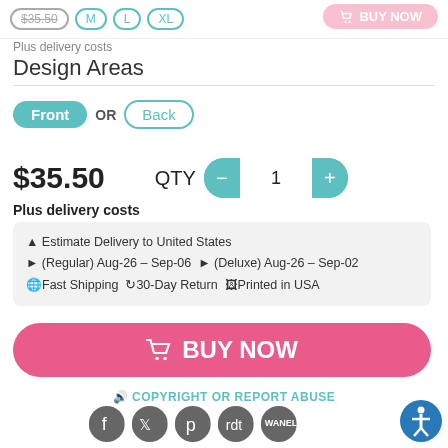$35.50  M  L  XL  BUY NOW
Plus delivery costs
Design Areas
Front OR Back
$35.50  QTY  1
Plus delivery costs
Estimate Delivery to United States
▶ (Regular) Aug-26 – Sep-06 ▶ (Deluxe) Aug-26 – Sep-02
🌐 Fast Shipping 🔄 30-Day Return 🖨 Printed in USA
🛒 BUY NOW
🔊 COPYRIGHT OR REPORT ABUSE